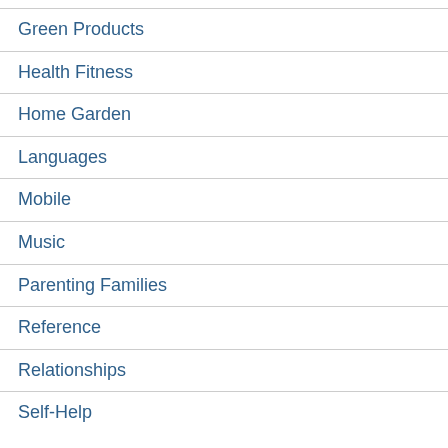Green Products
Health Fitness
Home Garden
Languages
Mobile
Music
Parenting Families
Reference
Relationships
Self-Help